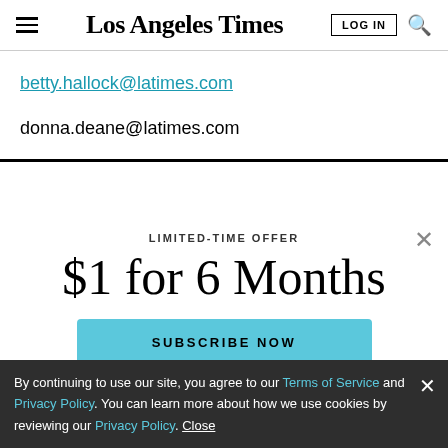Los Angeles Times
betty.hallock@latimes.com
donna.deane@latimes.com
LIMITED-TIME OFFER
$1 for 6 Months
SUBSCRIBE NOW
By continuing to use our site, you agree to our Terms of Service and Privacy Policy. You can learn more about how we use cookies by reviewing our Privacy Policy. Close